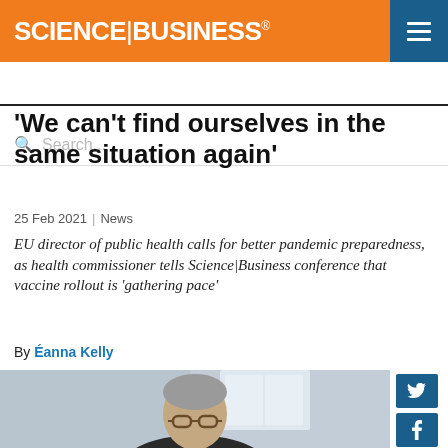SCIENCE|BUSINESS®
Search...
'We can't find ourselves in the same situation again'
25 Feb 2021 | News
EU director of public health calls for better pandemic preparedness, as health commissioner tells Science|Business conference that vaccine rollout is 'gathering pace'
By Éanna Kelly
[Figure (photo): Photo of a man (presumably an EU health official) wearing glasses, in an indoor setting]